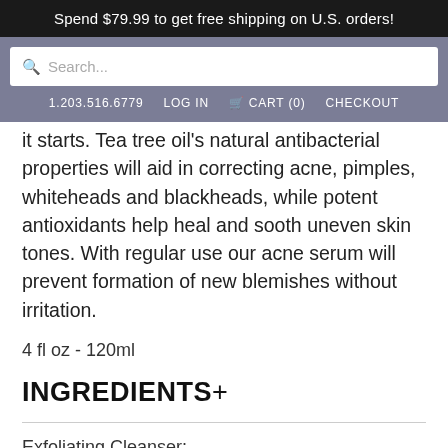Spend $79.99 to get free shipping on U.S. orders!
it starts. Tea tree oil's natural antibacterial properties will aid in correcting acne, pimples, whiteheads and blackheads, while potent antioxidants help heal and sooth uneven skin tones. With regular use our acne serum will prevent formation of new blemishes without irritation.
4 fl oz - 120ml
INGREDIENTS+
Exfoliating Cleanser: